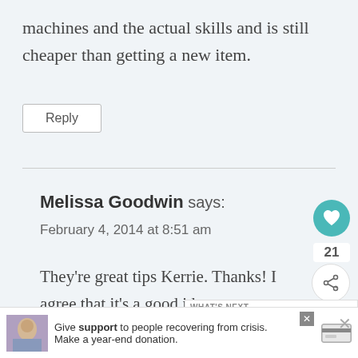machines and the actual skills and is still cheaper than getting a new item.
Reply
Melissa Goodwin says:
February 4, 2014 at 8:51 am
They're great tips Kerrie. Thanks! I agree that it's a good idea to get a professional to do some jobs (jean
[Figure (infographic): Heart like button (teal circle with heart icon), like count 21, share button]
[Figure (screenshot): What's Next promotional widget showing '10 Ways to Save Money...' with dog photo thumbnail]
[Figure (infographic): Advertisement banner: Give support to people recovering from crisis. Make a year-end donation. With close button and credit card icon.]